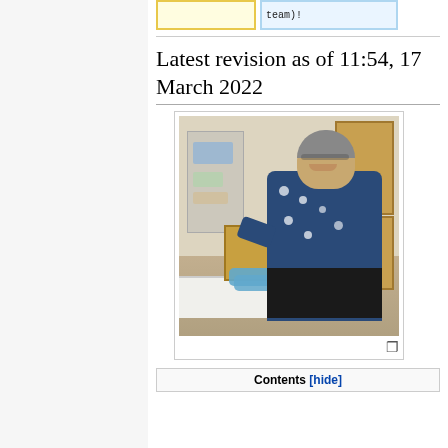team)!
Latest revision as of 11:54, 17 March 2022
[Figure (photo): A woman wearing blue gloves working in a laboratory, smiling at the camera. She is wearing a dark blue floral top and standing at a lab bench with boxes and equipment around her.]
Contents [hide]